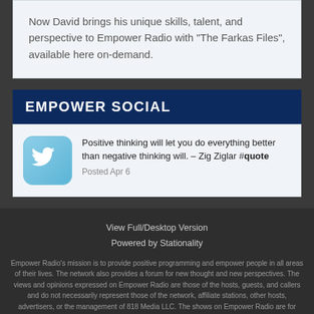Now David brings his unique skills, talent, and perspective to Empower Radio with “The Farkas Files”, available here on-demand.
EMPOWER SOCIAL
[Figure (logo): Twitter bird logo icon, light blue rounded square]
Positive thinking will let you do everything better than negative thinking will. – Zig Ziglar #quote
Posted Apr 6
View Full/Desktop Version
Powered by Stationality
Empower Radio’s mission is to provide positive programming and empower people in all areas of their lives. The network also provides a forum for new thought and new perspectives. The views and opinions expressed on Empower Radio are those of the hosts, guests, and callers and do not necessarily represent those of the network, affiliate stations, other hosts, advertisers, or the management of 818 Media LLC. The shows on Empower Radio are for entertainment purposes only and not intended to treat, diagnose, claim any cure of disease or condition, or promote any particular lifestyle, religion, belief, political affiliation, or other personal practice.